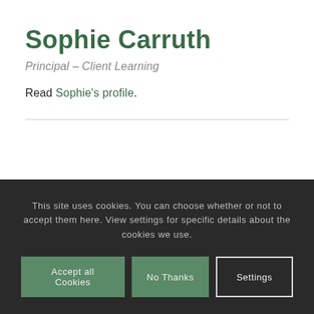Sophie Carruth
Principal – Client Learning
Read Sophie's profile.
This site uses cookies. You can choose whether or not to accept them here. View settings for specific details about the cookies we use.
Accept all Cookies | No Thanks | Settings